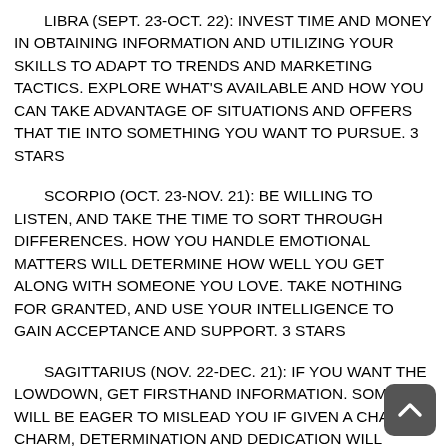LIBRA (SEPT. 23-OCT. 22): INVEST TIME AND MONEY IN OBTAINING INFORMATION AND UTILIZING YOUR SKILLS TO ADAPT TO TRENDS AND MARKETING TACTICS. EXPLORE WHAT'S AVAILABLE AND HOW YOU CAN TAKE ADVANTAGE OF SITUATIONS AND OFFERS THAT TIE INTO SOMETHING YOU WANT TO PURSUE. 3 STARS
SCORPIO (OCT. 23-NOV. 21): BE WILLING TO LISTEN, AND TAKE THE TIME TO SORT THROUGH DIFFERENCES. HOW YOU HANDLE EMOTIONAL MATTERS WILL DETERMINE HOW WELL YOU GET ALONG WITH SOMEONE YOU LOVE. TAKE NOTHING FOR GRANTED, AND USE YOUR INTELLIGENCE TO GAIN ACCEPTANCE AND SUPPORT. 3 STARS
SAGITTARIUS (NOV. 22-DEC. 21): IF YOU WANT THE LOWDOWN, GET FIRSTHAND INFORMATION. SOMEONE WILL BE EAGER TO MISLEAD YOU IF GIVEN A CHANCE. CHARM, DETERMINATION AND DEDICATION WILL CLEAR THE PATH TO A NEW BEGINNING. ROMANCE IS IN THE STARS. 3 STARS
CAPRICORN (DEC. 22-JAN. 19): EVALUATE YOUR LIFESTYLE AND ADJUST YOUR SITUATION TO MAKE LIFE EASIER. HOME IMPROVEMENTS AND INVESTING TIME AND MONEY IN YOU AND SURROUNDINGS WILL HELP YOU REACH A NEW GOAL. ATTENDING A